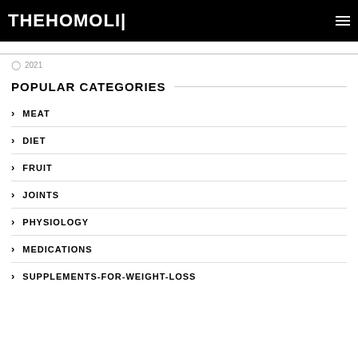THEHOMOLI
2021
POPULAR CATEGORIES
MEAT
DIET
FRUIT
JOINTS
PHYSIOLOGY
MEDICATIONS
SUPPLEMENTS-FOR-WEIGHT-LOSS